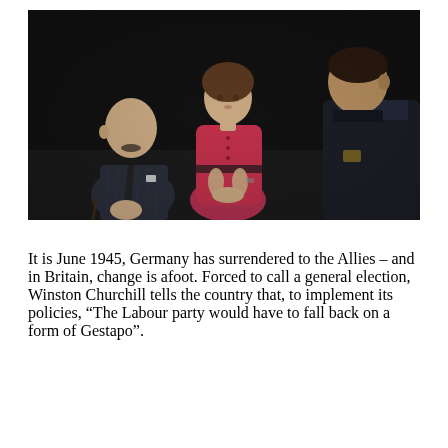[Figure (photo): Three people seated in a darkened studio setting. On the left, an older bald man with a mustache wearing a dark pinstripe suit and tie. In the center, a woman in a pink/red dress. On the right, a heavier-set man in a dark military-style uniform, shown from behind/side.]
It is June 1945, Germany has surrendered to the Allies – and in Britain, change is afoot. Forced to call a general election, Winston Churchill tells the country that, to implement its policies, "The Labour party would have to fall back on a form of Gestapo".